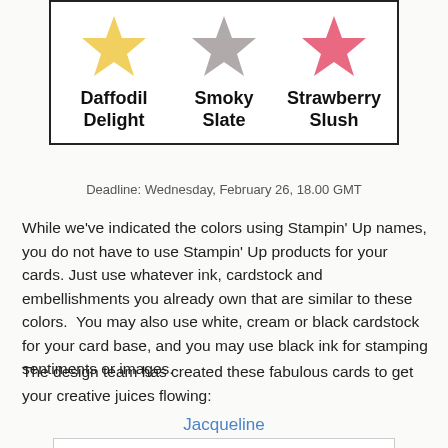[Figure (illustration): A bordered box containing three star shapes (yellow, gray, pink) with color names below: Daffodil Delight, Smoky Slate, Strawberry Slush]
Deadline: Wednesday, February 26, 18.00 GMT
While we've indicated the colors using Stampin' Up names, you do not have to use Stampin' Up products for your cards. Just use whatever ink, cardstock and embellishments you already own that are similar to these colors.  You may also use white, cream or black cardstock for your card base, and you may use black ink for stamping sentiments or images.
The design team has created these fabulous cards to get your creative juices flowing:
Jacqueline